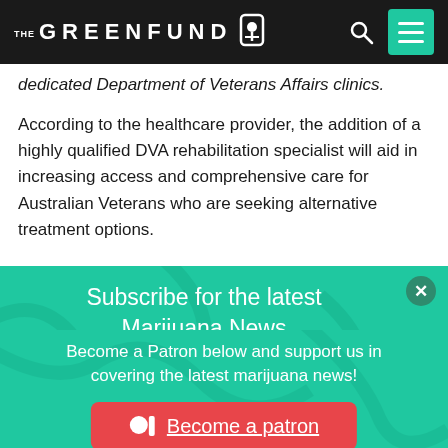THE GREENFUND
dedicated Department of Veterans Affairs clinics.
According to the healthcare provider, the addition of a highly qualified DVA rehabilitation specialist will aid in increasing access and comprehensive care for Australian Veterans who are seeking alternative treatment options.
Subscribe for the latest Marijuana News
Enter your email
Subscribe
Become a Patron below and support us in covering the latest marijuana news!
Become a patron